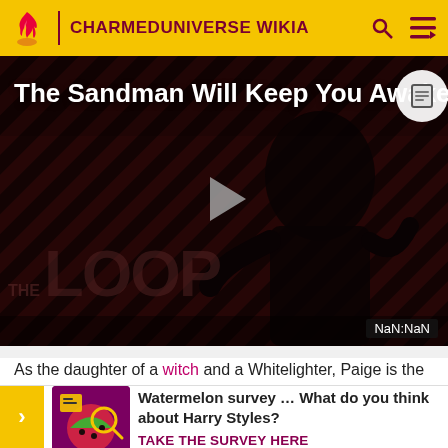CHARMEDUNIVERSE WIKIA
[Figure (screenshot): Video player showing 'The Sandman Will Keep You Awake.' with a dark stylized figure, play button overlay, THE LOOP watermark, and NaN:NaN timestamp]
As the daughter of a witch and a Whitelighter, Paige is the Char... young... legac...
[Figure (infographic): Survey banner: Watermelon survey ... What do you think about Harry Styles? TAKE THE SURVEY HERE]